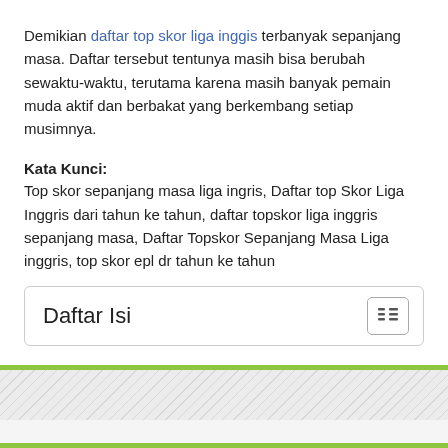Demikian daftar top skor liga inggis terbanyak sepanjang masa. Daftar tersebut tentunya masih bisa berubah sewaktu-waktu, terutama karena masih banyak pemain muda aktif dan berbakat yang berkembang setiap musimnya.
Kata Kunci:
Top skor sepanjang masa liga ingris, Daftar top Skor Liga Inggris dari tahun ke tahun, daftar topskor liga inggris sepanjang masa, Daftar Topskor Sepanjang Masa Liga inggris, top skor epl dr tahun ke tahun
Daftar Isi